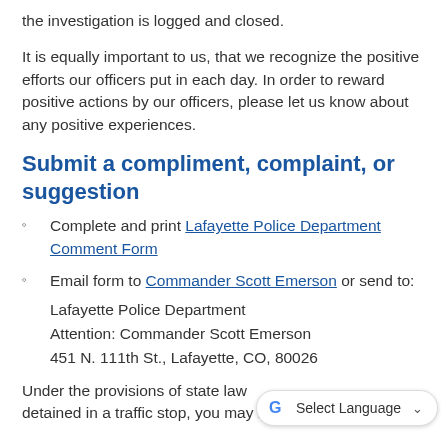the investigation is logged and closed.
It is equally important to us, that we recognize the positive efforts our officers put in each day. In order to reward positive actions by our officers, please let us know about any positive experiences.
Submit a compliment, complaint, or suggestion
Complete and print Lafayette Police Department Comment Form
Email form to Commander Scott Emerson or send to:
Lafayette Police Department
Attention: Commander Scott Emerson
451 N. 111th St., Lafayette, CO, 80026
Under the provisions of state law detained in a traffic stop, you may report any